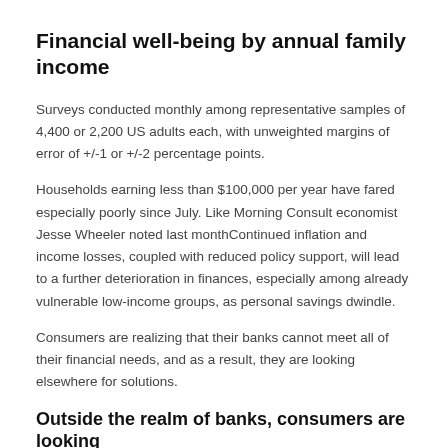Financial well-being by annual family income
Surveys conducted monthly among representative samples of 4,400 or 2,200 US adults each, with unweighted margins of error of +/-1 or +/-2 percentage points.
Households earning less than $100,000 per year have fared especially poorly since July. Like Morning Consult economist Jesse Wheeler noted last monthContinued inflation and income losses, coupled with reduced policy support, will lead to a further deterioration in finances, especially among already vulnerable low-income groups, as personal savings dwindle.
Consumers are realizing that their banks cannot meet all of their financial needs, and as a result, they are looking elsewhere for solutions.
Outside the realm of banks, consumers are looking